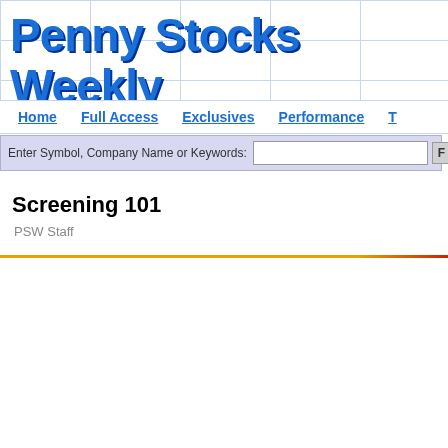Penny Stocks Weekly
Home  Full Access  Exclusives  Performance  T
Enter Symbol, Company Name or Keywords:
Screening 101
PSW Staff